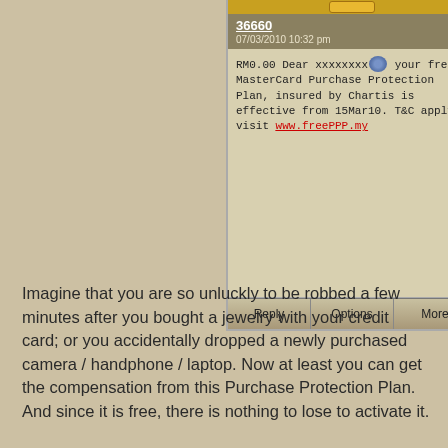[Figure (screenshot): Mobile phone SMS screenshot showing sender number 36660, date 07/03/2010 10:32 pm, and message: RM0.00 Dear xxxxxxxx[emoji], your free MasterCard Purchase Protection Plan, insured by Chartis is effective from 15Mar10. T&C apply, visit www.freePPP.my. Bottom buttons: Reply, Options, More.]
Imagine that you are so unluckly to be robbed a few minutes after you bought a jewelry with your credit card; or you accidentally dropped a newly purchased camera / handphone / laptop. Now at least you can get the compensation from this Purchase Protection Plan. And since it is free, there is nothing to lose to activate it.